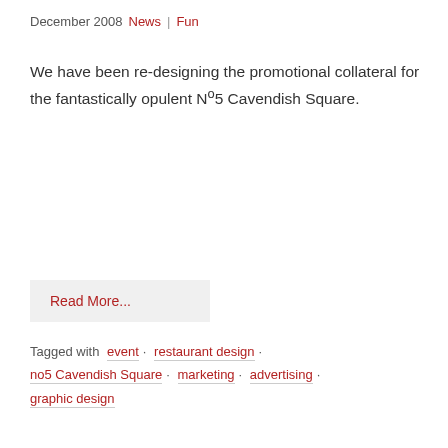December 2008  News  |  Fun
We have been re-designing the promotional collateral for the fantastically opulent N°5 Cavendish Square.
Read More...
Tagged with  event · restaurant design · no5 Cavendish Square · marketing · advertising · graphic design